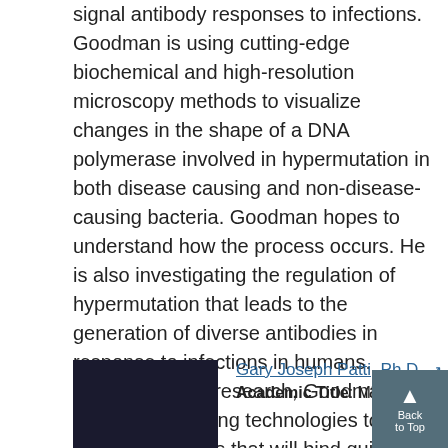signal antibody responses to infections. Goodman is using cutting-edge biochemical and high-resolution microscopy methods to visualize changes in the shape of a DNA polymerase involved in hypermutation in both disease causing and non-disease-causing bacteria. Goodman hopes to understand how the process occurs. He is also investigating the regulation of hypermutation that leads to the generation of diverse antibodies in response to infections in humans. Building on this research, Goodman's team is developing technologies to create antibodies that will bind quicker and better to any antigen in cell culture. Such technologies could have substantial implications for medical therapeutics.
[Figure (photo): Headshot photo of Gary Joseph Patti, Ph.D. — partially visible at bottom of page, dark background]
Gary Joseph Patti, Ph.D. Academic Title: Michael and